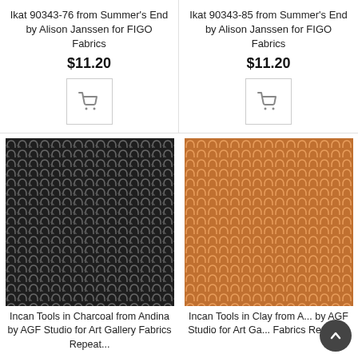Ikat 90343-76 from Summer's End by Alison Janssen for FIGO Fabrics
$11.20
[Figure (other): Shopping cart button icon]
Ikat 90343-85 from Summer's End by Alison Janssen for FIGO Fabrics
$11.20
[Figure (other): Shopping cart button icon]
[Figure (photo): Incan Tools in Charcoal fabric swatch — dark charcoal/black background with repeating ikat arch pattern in lighter grey/white]
Incan Tools in Charcoal from Andina by AGF Studio for Art Gallery Fabrics Repeat...
[Figure (photo): Incan Tools in Clay fabric swatch — warm clay/terracotta orange background with repeating ikat arch pattern in lighter tone]
Incan Tools in Clay from A... by AGF Studio for Art Ga... Fabrics Repeat...